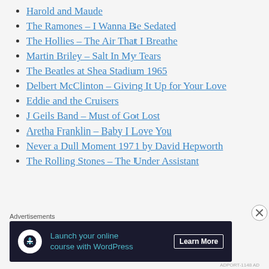Harold and Maude
The Ramones – I Wanna Be Sedated
The Hollies – The Air That I Breathe
Martin Briley – Salt In My Tears
The Beatles at Shea Stadium 1965
Delbert McClinton – Giving It Up for Your Love
Eddie and the Cruisers
J Geils Band – Must of Got Lost
Aretha Franklin – Baby I Love You
Never a Dull Moment 1971 by David Hepworth
The Rolling Stones – The Under Assistant
Advertisements
[Figure (other): Advertisement banner: Launch your online course with WordPress – Learn More]